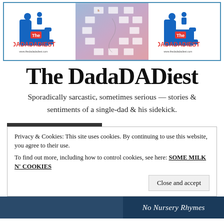[Figure (logo): The DadaDADiest website banner with three panels: left and right showing the logo (blue recliner chair with adult and child figures, red 'DADADADIEST' text), center panel showing multiple small logos scattered on a purple-blue gradient background]
The DadaDADiest
Sporadically sarcastic, sometimes serious — stories & sentiments of a single-dad & his sidekick.
Privacy & Cookies: This site uses cookies. By continuing to use this website, you agree to their use.
To find out more, including how to control cookies, see here: SOME MILK N' COOKIES
[Figure (photo): Bottom strip showing partial image - left side appears to be a photo with dark blue tones, right side has cursive text 'No Nursery Rhymes' in white on dark blue background]